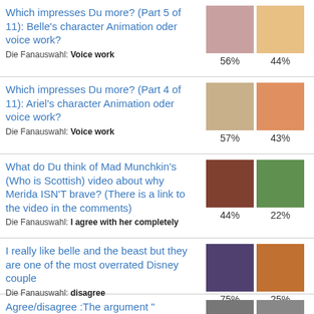Which impresses Du more? (Part 5 of 11): Belle's character Animation oder voice work?
Die Fanauswahl: Voice work | 56% | 44%
Which impresses Du more? (Part 4 of 11): Ariel's character Animation oder voice work?
Die Fanauswahl: Voice work | 57% | 43%
What do Du think of Mad Munchkin's (Who is Scottish) video about why Merida ISN'T brave? (There is a link to the video in the comments)
Die Fanauswahl: I agree with her completely | 44% | 22%
I really like belle and the beast but they are one of the most overrated Disney couple
Die Fanauswahl: disagree | 75% | 25%
Agree/disagree :The argument " sleeping beauty is a sexist movie